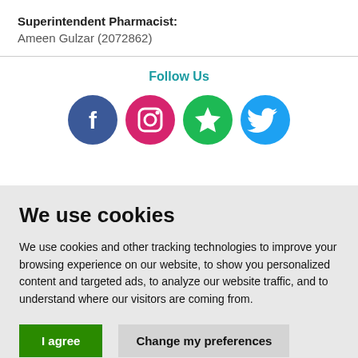Superintendent Pharmacist: Ameen Gulzar (2072862)
[Figure (illustration): Four social media icons in circles: Facebook (dark blue), Instagram (pink/magenta), a star/review icon (green), and Twitter (light blue). Centered under 'Follow Us' heading.]
Follow Us
We use cookies
We use cookies and other tracking technologies to improve your browsing experience on our website, to show you personalized content and targeted ads, to analyze our website traffic, and to understand where our visitors are coming from.
I agree   Change my preferences